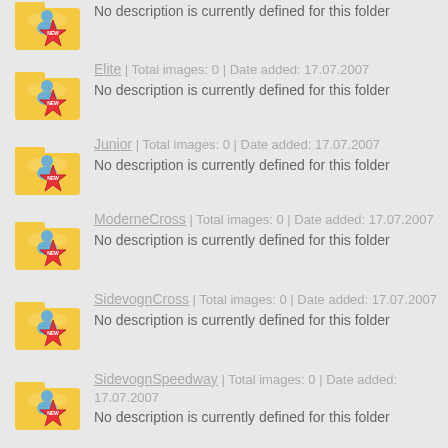No description is currently defined for this folder
Elite | Total images: 0 | Date added: 17.07.2007
No description is currently defined for this folder
Junior | Total images: 0 | Date added: 17.07.2007
No description is currently defined for this folder
ModerneCross | Total images: 0 | Date added: 17.07.2007
No description is currently defined for this folder
SidevognCross | Total images: 0 | Date added: 17.07.2007
No description is currently defined for this folder
SidevognSpeedway | Total images: 0 | Date added: 17.07.2007
No description is currently defined for this folder